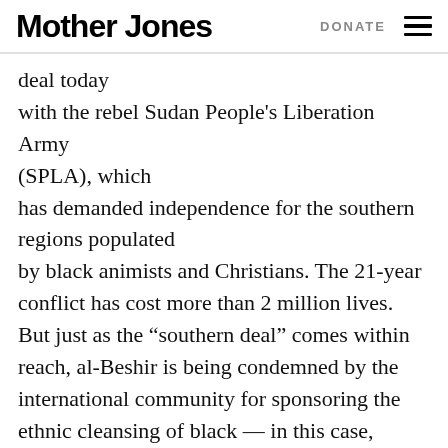Mother Jones | DONATE
deal today with the rebel Sudan People's Liberation Army (SPLA), which has demanded independence for the southern regions populated by black animists and Christians. The 21-year conflict has cost more than 2 million lives. But just as the “southern deal” comes within reach, al-Beshir is being condemned by the international community for sponsoring the ethnic cleansing of black — in this case, Muslim — communities in a separate conflict in the western region of Darfur.

Human rights groups and the U.S. government